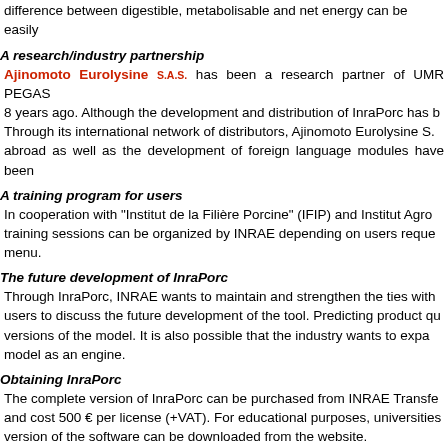difference between digestible, metabolisable and net energy can be easily
A research/industry partnership
Ajinomoto Eurolysine S.A.S. has been a research partner of UMR PEGAS 8 years ago. Although the development and distribution of InraPorc has b Through its international network of distributors, Ajinomoto Eurolysine S. abroad as well as the development of foreign language modules have been
A training program for users
In cooperation with "Institut de la Filière Porcine" (IFIP) and Institut Agro training sessions can be organized by INRAE depending on users reque menu.
The future development of InraPorc
Through InraPorc, INRAE wants to maintain and strengthen the ties with users to discuss the future development of the tool. Predicting product qu versions of the model. It is also possible that the industry wants to expa model as an engine.
Obtaining InraPorc
The complete version of InraPorc can be purchased from INRAE Transfe and cost 500 € per license (+VAT). For educational purposes, universities version of the software can be downloaded from the website.